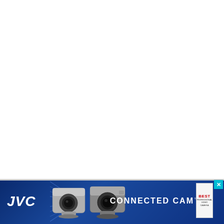[Figure (advertisement): JVC Connected Cam advertisement banner at the bottom of the page. Blue gradient background with JVC logo in white italic bold text on the left, two professional PTZ cameras in the center, 'CONNECTED CAM™' text in white on the right, an award badge, and a cyan close button in the top-right corner.]